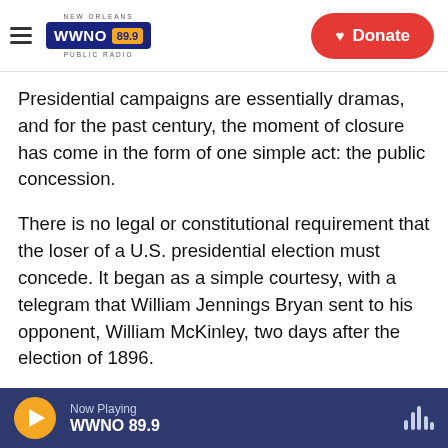[Figure (logo): WWNO 89.9 New Orleans Public Radio logo with hamburger menu and Donate button]
Presidential campaigns are essentially dramas, and for the past century, the moment of closure has come in the form of one simple act: the public concession.
There is no legal or constitutional requirement that the loser of a U.S. presidential election must concede. It began as a simple courtesy, with a telegram that William Jennings Bryan sent to his opponent, William McKinley, two days after the election of 1896.
Lincoln, Neb., November 5.
Now Playing WWNO 89.9